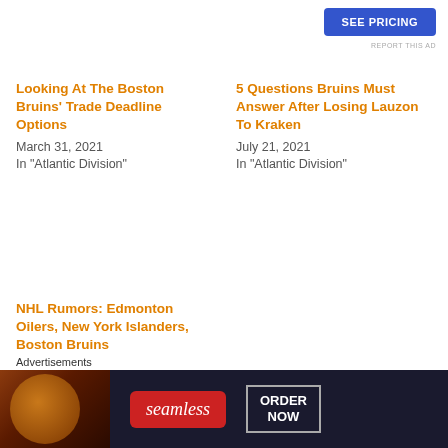[Figure (other): SEE PRICING advertisement button (blue rectangle)]
REPORT THIS AD
Looking At The Boston Bruins' Trade Deadline Options
March 31, 2021
In "Atlantic Division"
5 Questions Bruins Must Answer After Losing Lauzon To Kraken
July 21, 2021
In "Atlantic Division"
NHL Rumors: Edmonton Oilers, New York Islanders, Boston Bruins
August 3, 2022
In "Boston Bruins"
Tags: Brandon Carlo  Bruins  Connor Clifton  Frederic
Advertisements
[Figure (photo): Seamless food delivery advertisement banner with pizza image, seamless logo, and ORDER NOW button]